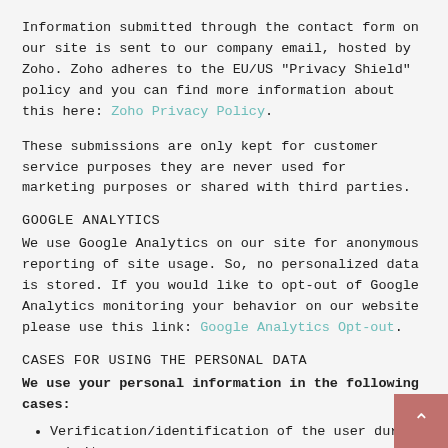Information submitted through the contact form on our site is sent to our company email, hosted by Zoho. Zoho adheres to the EU/US "Privacy Shield" policy and you can find more information about this here: Zoho Privacy Policy.
These submissions are only kept for customer service purposes they are never used for marketing purposes or shared with third parties.
GOOGLE ANALYTICS
We use Google Analytics on our site for anonymous reporting of site usage. So, no personalized data is stored. If you would like to opt-out of Google Analytics monitoring your behavior on our website please use this link: Google Analytics Opt-out.
CASES FOR USING THE PERSONAL DATA
We use your personal information in the following cases:
Verification/identification of the user during website usage;
Providing Technical Assistance;
Sending updates to our users with important information to inform about news/changes;